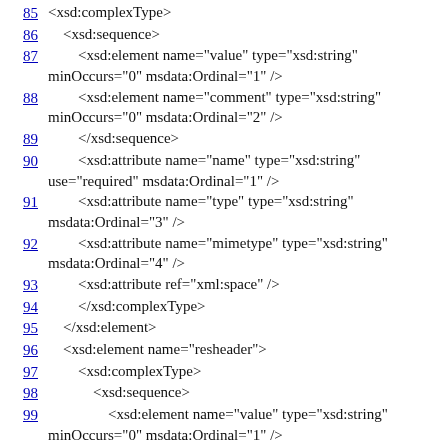85    <xsd:complexType>
86        <xsd:sequence>
87            <xsd:element name="value" type="xsd:string" minOccurs="0" msdata:Ordinal="1" />
88            <xsd:element name="comment" type="xsd:string" minOccurs="0" msdata:Ordinal="2" />
89            </xsd:sequence>
90            <xsd:attribute name="name" type="xsd:string" use="required" msdata:Ordinal="1" />
91            <xsd:attribute name="type" type="xsd:string" msdata:Ordinal="3" />
92            <xsd:attribute name="mimetype" type="xsd:string" msdata:Ordinal="4" />
93            <xsd:attribute ref="xml:space" />
94            </xsd:complexType>
95        </xsd:element>
96        <xsd:element name="resheader">
97            <xsd:complexType>
98            <xsd:sequence>
99            <xsd:element name="value" type="xsd:string" minOccurs="0" msdata:Ordinal="1" />
100           </xsd:sequence>